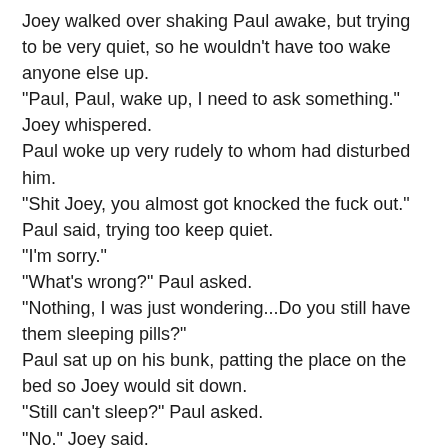Joey walked over shaking Paul awake, but trying to be very quiet, so he wouldn't have too wake anyone else up.
"Paul, Paul, wake up, I need to ask something." Joey whispered.
Paul woke up very rudely to whom had disturbed him.
"Shit Joey, you almost got knocked the fuck out." Paul said, trying too keep quiet.
"I'm sorry."
"What's wrong?" Paul asked.
"Nothing, I was just wondering...Do you still have them sleeping pills?"
Paul sat up on his bunk, patting the place on the bed so Joey would sit down.
"Still can't sleep?" Paul asked.
"No." Joey said.
Paul reached into his side table, taking out a black bag.
"Maybe you should get this looked at." Paul suggested.
"Nah, it's nothing serious, just too many things on my